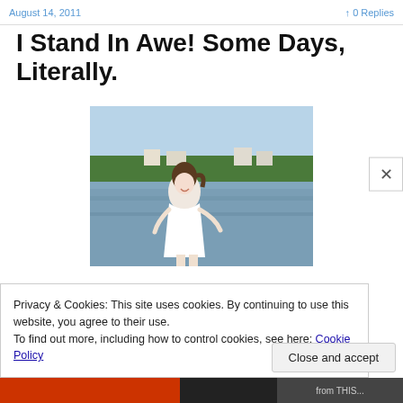August 14, 2011 · 0 Replies
I Stand In Awe! Some Days, Literally.
[Figure (photo): A woman in a white dress standing outdoors near a body of water with trees and houses visible in the background. She is smiling and appears joyful.]
Privacy & Cookies: This site uses cookies. By continuing to use this website, you agree to their use.
To find out more, including how to control cookies, see here: Cookie Policy
Close and accept